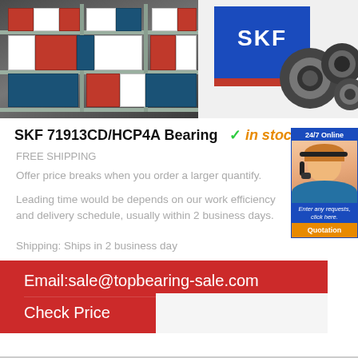[Figure (photo): Left: warehouse shelves stocked with SKF bearing boxes in red, blue and white packaging. Right: SKF branded blue box with red stripe and three ball bearings on white background.]
SKF 71913CD/HCP4A Bearing  ✓ in stock
FREE SHIPPING
Offer price breaks when you order a larger quantify.
Leading time would be depends on our work efficiency and delivery schedule, usually within 2 business days.
Shipping: Ships in 2 business day
[Figure (photo): Sidebar: 24/7 Online customer service representative (woman with headset), with text 'Enter any requests, click here.' and orange Quotation button.]
Email:sale@topbearing-sale.com
Check Price